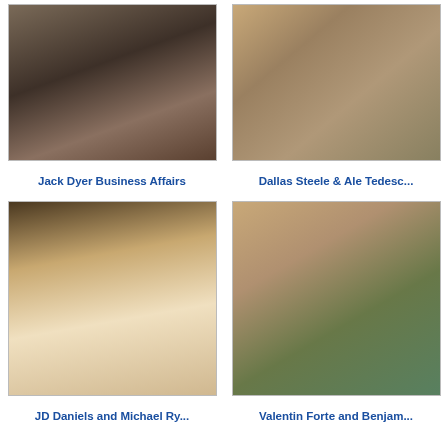[Figure (photo): Thumbnail photo for Jack Dyer Business Affairs]
[Figure (photo): Thumbnail photo for Dallas Steele & Ale Tedesc...]
Jack Dyer Business Affairs
Dallas Steele & Ale Tedesc...
[Figure (photo): Thumbnail photo for JD Daniels and Michael Ry...]
[Figure (photo): Thumbnail photo for Valentin Forte and Benjam...]
JD Daniels and Michael Ry...
Valentin Forte and Benjam...